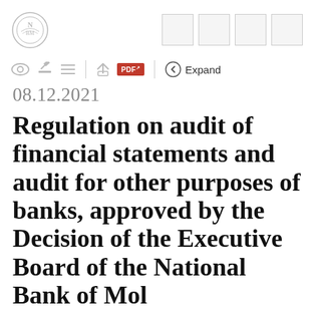National Bank of Moldova – document header with logo and navigation boxes
[Figure (logo): National Bank of Moldova emblem/logo in grey]
08.12.2021
Regulation on audit of financial statements and audit for other purposes of banks, approved by the Decision of the Executive Board of the National Bank of Moldova, 112 f…